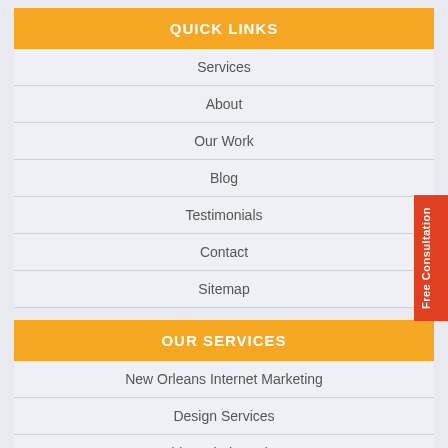QUICK LINKS
Services
About
Our Work
Blog
Testimonials
Contact
Sitemap
OUR SERVICES
New Orleans Internet Marketing
Design Services
White Label Services